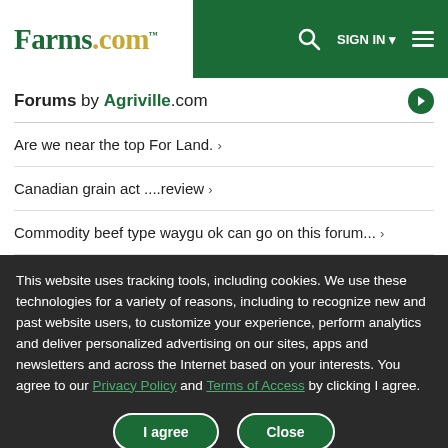Farms.com — SIGN IN — Navigation menu
Forums by Agriville.com
Are we near the top For Land. ›
Canadian grain act ....review ›
Commodity beef type waygu ok can go on this forum... ›
This website uses tracking tools, including cookies. We use these technologies for a variety of reasons, including to recognize new and past website users, to customize your experience, perform analytics and deliver personalized advertising on our sites, apps and newsletters and across the Internet based on your interests. You agree to our Privacy Policy and Terms of Access by clicking I agree.